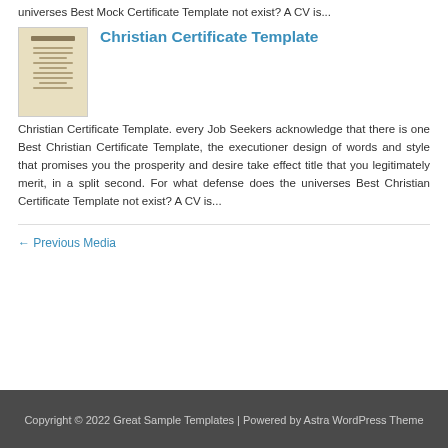universes Best Mock Certificate Template not exist? A CV is...
Christian Certificate Template
Christian Certificate Template. every Job Seekers acknowledge that there is one Best Christian Certificate Template, the executioner design of words and style that promises you the prosperity and desire take effect title that you legitimately merit, in a split second. For what defense does the universes Best Christian Certificate Template not exist? A CV is...
← Previous Media
Copyright © 2022 Great Sample Templates | Powered by Astra WordPress Theme